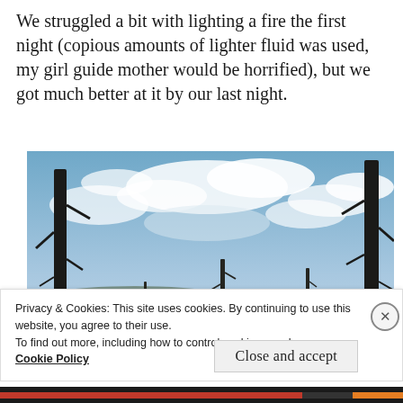We struggled a bit with lighting a fire the first night (copious amounts of lighter fluid was used, my girl guide mother would be horrified), but we got much better at it by our last night.
[Figure (photo): Outdoor landscape photo showing tall bare dead trees silhouetted against a partly cloudy blue sky, with distant hills and sparse evergreen forest on the horizon.]
Privacy & Cookies: This site uses cookies. By continuing to use this website, you agree to their use.
To find out more, including how to control cookies, see here: Cookie Policy
Close and accept